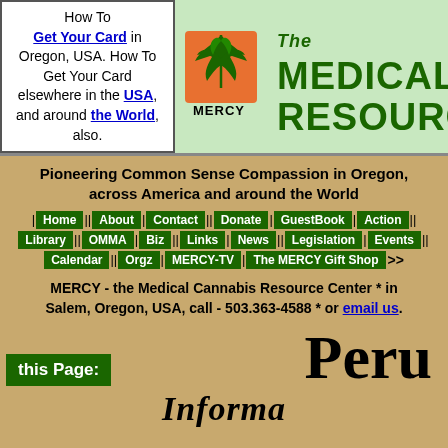How To Get Your Card in Oregon, USA. How To Get Your Card elsewhere in the USA, and around the World, also.
[Figure (logo): The Medical Cannabis Resource Center (MERCY) logo with cannabis leaf on orange square and MERCY text]
Pioneering Common Sense Compassion in Oregon, across America and around the World
Navigation bar: Home | About | Contact | Donate | GuestBook | Action | Library | OMMA | Biz | Links | News | Legislation | Events | Calendar | Orgz | MERCY-TV | The MERCY Gift Shop >>
MERCY - the Medical Cannabis Resource Center * in Salem, Oregon, USA, call - 503.363-4588 * or email us.
this Page:
Peru
Information